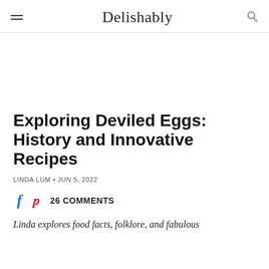Delishably
Exploring Deviled Eggs: History and Innovative Recipes
LINDA LUM • JUN 5, 2022
26 COMMENTS
Linda explores food facts, folklore, and fabulous